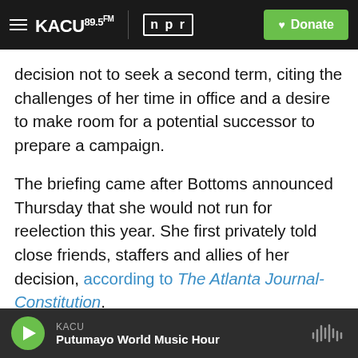KACU 89.5FM | NPR | Donate
decision not to seek a second term, citing the challenges of her time in office and a desire to make room for a potential successor to prepare a campaign.
The briefing came after Bottoms announced Thursday that she would not run for reelection this year. She first privately told close friends, staffers and allies of her decision, according to The Atlanta Journal-Constitution.
"The last three years have not been at all what I would have scripted for our city," she said, citing a
KACU | Putumayo World Music Hour